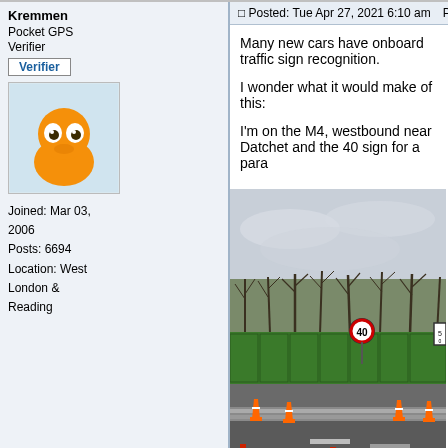Kremmen
Pocket GPS Verifier
[Figure (illustration): Orange blob cartoon avatar mascot]
Joined: Mar 03, 2006
Posts: 6694
Location: West London & Reading
Posted: Tue Apr 27, 2021 6:10 am    Post subject: Traffic Sign Recognition
Many new cars have onboard traffic sign recognition.
I wonder what it would make of this:
I'm on the M4, westbound near Datchet and the 40 sign for a para
[Figure (photo): Road photo showing M4 motorway westbound near Datchet with green barriers, orange traffic cones, a 40 mph speed sign circle, bare winter trees, and grey overcast sky]